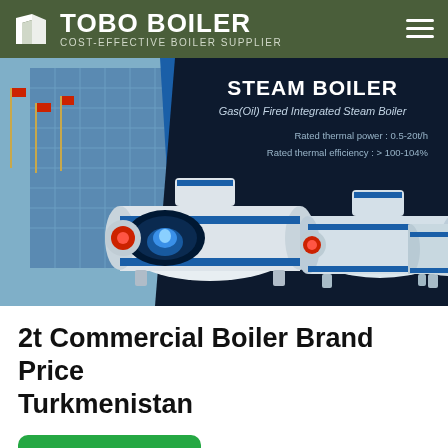TOBO BOILER — COST-EFFECTIVE BOILER SUPPLIER
[Figure (photo): Steam Boiler product banner showing Gas(Oil) Fired Integrated Steam Boiler units on dark background with building photo. Text: STEAM BOILER, Gas(Oil) Fired Integrated Steam Boiler, Rated thermal power: 0.5-20t/h, Rated thermal efficiency: > 100-104%]
2t Commercial Boiler Brand Price Turkmenistan
[Figure (other): WhatsApp contact button (green rounded rectangle with WhatsApp logo and text)]